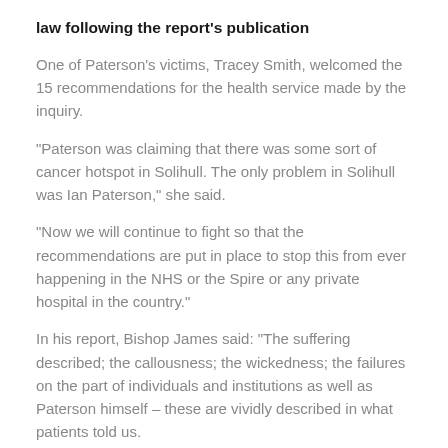law following the report's publication
One of Paterson's victims, Tracey Smith, welcomed the 15 recommendations for the health service made by the inquiry.
“Paterson was claiming that there was some sort of cancer hotspot in Solihull. The only problem in Solihull was Ian Paterson,” she said.
“Now we will continue to fight so that the recommendations are put in place to stop this from ever happening in the NHS or the Spire or any private hospital in the country.”
In his report, Bishop James said: “The suffering described; the callousness; the wickedness; the failures on the part of individuals and institutions as well as Paterson himself – these are vividly described in what patients told us.